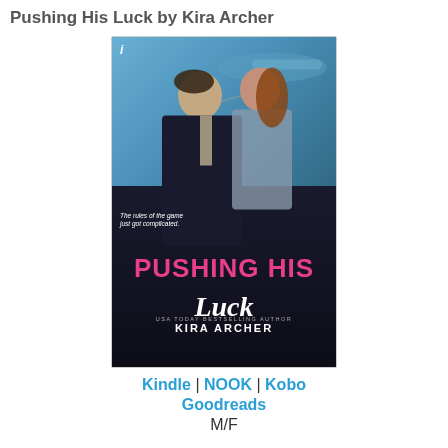Pushing His Luck by Kira Archer
[Figure (illustration): Book cover of 'Pushing His Luck' by Kira Archer. A man in a dark suit and a woman in a gray dress face each other closely near a private jet. The cover shows large pink text 'PUSHING HIS' and white cursive text 'Luck'. Tagline reads 'The rules of the game just got complicated.' Author noted as USA TODAY BESTSELLING AUTHOR KIRA ARCHER.]
Kindle | NOOK | Kobo
Goodreads
M/F